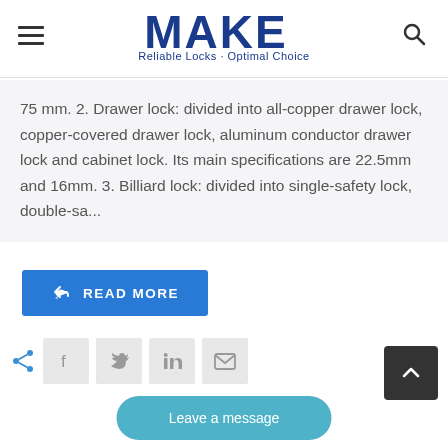[Figure (logo): MAKE brand logo with text 'Reliable Locks - Optimal Choice']
75 mm. 2. Drawer lock: divided into all-copper drawer lock, copper-covered drawer lock, aluminum conductor drawer lock and cabinet lock. Its main specifications are 22.5mm and 16mm. 3. Billiard lock: divided into single-safety lock, double-sa...